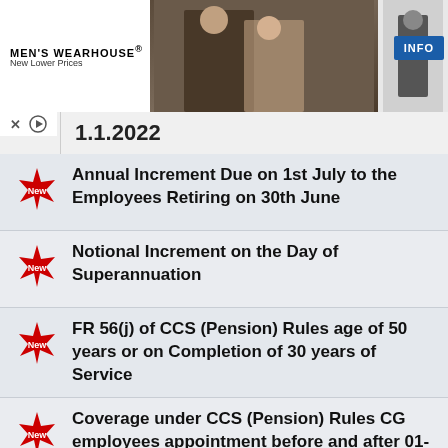[Figure (photo): Men's Wearhouse advertisement banner showing couple in formal wear and a man in a suit, with INFO button]
1.1.2022
Annual Increment Due on 1st July to the Employees Retiring on 30th June
Notional Increment on the Day of Superannuation
FR 56(j) of CCS (Pension) Rules age of 50 years or on Completion of 30 years of Service
Coverage under CCS (Pension) Rules CG employees appointment before and after 01-01-2004